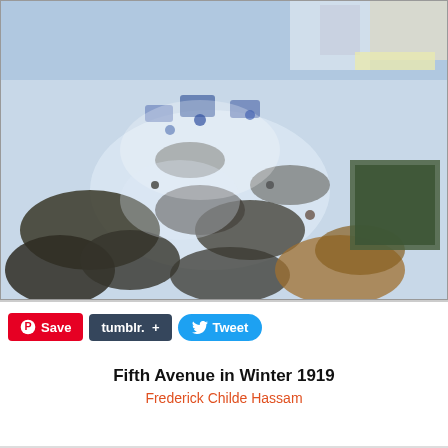[Figure (illustration): Impressionist painting 'Fifth Avenue in Winter 1919' by Frederick Childe Hassam showing a busy winter street scene with crowds of people, carriages, and buildings in blue and earth tones, viewed from an elevated perspective.]
[Figure (other): Social sharing toolbar with Pinterest Save button (red), Tumblr button (dark grey-blue), Tweet button (blue), plus a small thumbnail of the painting with a magnifier icon]
Fifth Avenue in Winter 1919
Frederick Childe Hassam